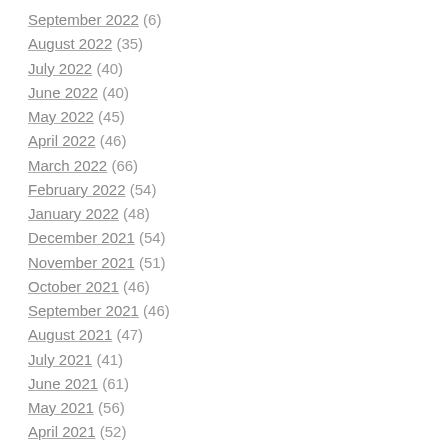September 2022 (6)
August 2022 (35)
July 2022 (40)
June 2022 (40)
May 2022 (45)
April 2022 (46)
March 2022 (66)
February 2022 (54)
January 2022 (48)
December 2021 (54)
November 2021 (51)
October 2021 (46)
September 2021 (46)
August 2021 (47)
July 2021 (41)
June 2021 (61)
May 2021 (56)
April 2021 (52)
March 2021 (55)